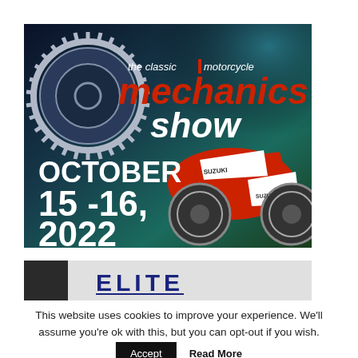[Figure (illustration): The Classic Motorcycle Mechanics Show advertisement banner. Dark navy/teal gradient background with a silver gear/sprocket logo on the left. Text reads 'the classic motorcycle mechanics show' in red and white. A red and white Suzuki racing motorcycle on the right. Large white text at bottom-left: OCTOBER 15-16, 2022.]
[Figure (illustration): Partial banner showing 'ELITE' text in large dark blue bold letters on a light gray background.]
This website uses cookies to improve your experience. We'll assume you're ok with this, but you can opt-out if you wish.
Accept   Read More